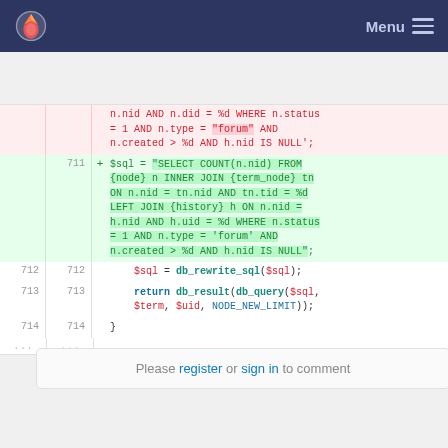Menu
[Figure (screenshot): Code diff showing SQL query changes. Removed lines show old query with h.did column, added lines show new query using INNER JOIN with term_node. Lines 711-714 shown with line numbers on both old and new sides.]
Please register or sign in to comment